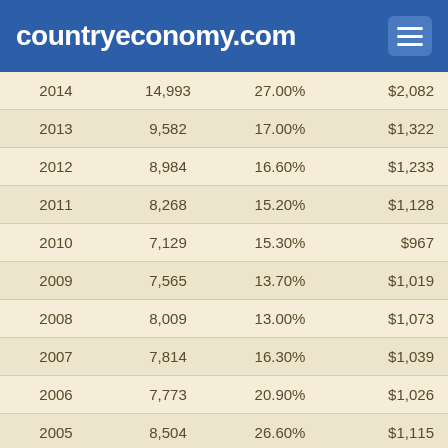countryeconomy.com
| 2014 | 14,993 | 27.00% | $2,082 |
| 2013 | 9,582 | 17.00% | $1,322 |
| 2012 | 8,984 | 16.60% | $1,233 |
| 2011 | 8,268 | 15.20% | $1,128 |
| 2010 | 7,129 | 15.30% | $967 |
| 2009 | 7,565 | 13.70% | $1,019 |
| 2008 | 8,009 | 13.00% | $1,073 |
| 2007 | 7,814 | 16.30% | $1,039 |
| 2006 | 7,773 | 20.90% | $1,026 |
| 2005 | 8,504 | 26.60% | $1,115 |
| 2004 | 9,878 | 35.70% | $1,285 |
| 2003 | 9,606 | 43.40% | $1,240 |
| 2002 | 8,760 | 51.00% | $1,122 |
| 2001 | 9,511 | 64.50% | $1,209 |
| 2000 | 9,715 | 70.70% | $1,192 |